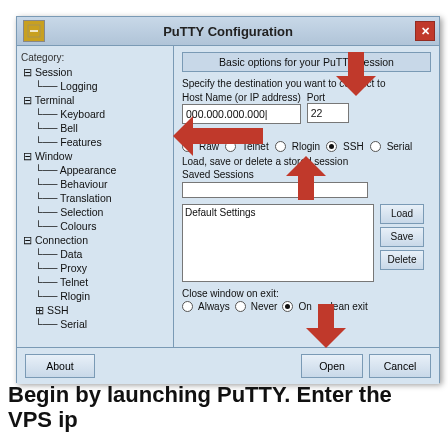[Figure (screenshot): PuTTY Configuration dialog window screenshot with red arrows pointing to Host Name field (showing 000.000.000.000), Port field (22), SSH radio button selected, and Open button. Tree on left shows Session, Logging, Terminal, Keyboard, Bell, Features, Window, Appearance, Behaviour, Translation, Selection, Colours, Connection, Data, Proxy, Telnet, Rlogin, SSH, Serial categories.]
Begin by launching PuTTY. Enter the VPS ip